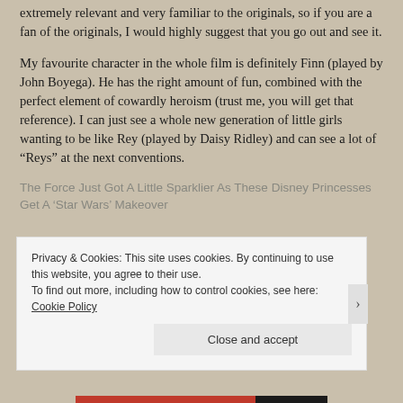extremely relevant and very familiar to the originals, so if you are a fan of the originals, I would highly suggest that you go out and see it.
My favourite character in the whole film is definitely Finn (played by John Boyega). He has the right amount of fun, combined with the perfect element of cowardly heroism (trust me, you will get that reference). I can just see a whole new generation of little girls wanting to be like Rey (played by Daisy Ridley) and can see a lot of “Reys” at the next conventions.
The Force Just Got A Little Sparklier As These Disney Princesses Get A ‘Star Wars’ Makeover
Privacy & Cookies: This site uses cookies. By continuing to use this website, you agree to their use.
To find out more, including how to control cookies, see here: Cookie Policy